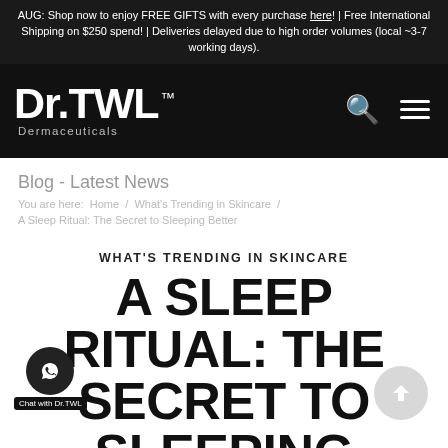AUG: Shop now to enjoy FREE GIFTS with every purchase here! | Free International Shipping on $250 spend! | Deliveries delayed due to high order volumes (local ~3-7 working days).
[Figure (logo): Dr.TWL Dermaceuticals logo in white on black background, with search and hamburger menu icons]
Blog - Latest News
You are here:  Home  /  What's Trending in Skincare  /  A Sleep Ritual: The Secret to Sleeping Better
WHAT'S TRENDING IN SKINCARE
A SLEEP RITUAL: THE SECRET TO SLEEPING BETTER